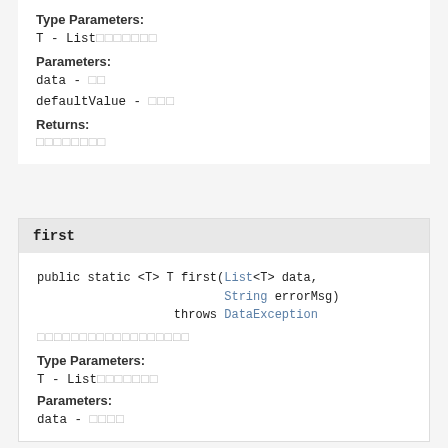Type Parameters:
T - List□□□□□□□
Parameters:
data - □□
defaultValue - □□□
Returns:
□□□□□□□□
first
public static <T> T first(List<T> data,
                          String errorMsg)
                   throws DataException
□□□□□□□□□□□□□□□□□□
Type Parameters:
T - List□□□□□□□
Parameters:
data - □□□□